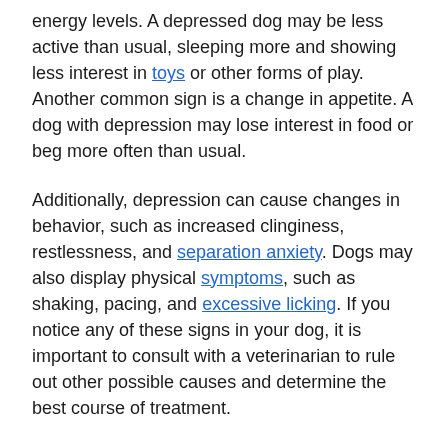energy levels. A depressed dog may be less active than usual, sleeping more and showing less interest in toys or other forms of play. Another common sign is a change in appetite. A dog with depression may lose interest in food or beg more often than usual.
Additionally, depression can cause changes in behavior, such as increased clinginess, restlessness, and separation anxiety. Dogs may also display physical symptoms, such as shaking, pacing, and excessive licking. If you notice any of these signs in your dog, it is important to consult with a veterinarian to rule out other possible causes and determine the best course of treatment.